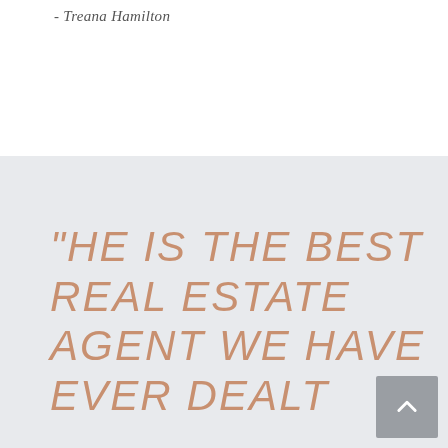- Treana Hamilton
“HE IS THE BEST REAL ESTATE AGENT WE HAVE EVER DEALT